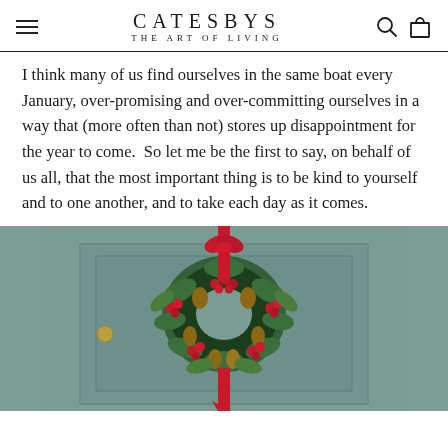CATESBYS
THE ART OF LIVING
I think many of us find ourselves in the same boat every January, over-promising and over-committing ourselves in a way that (more often than not) stores up disappointment for the year to come.  So let me be the first to say, on behalf of us all, that the most important thing is to be kind to yourself and to one another, and to take each day as it comes.
[Figure (photo): A green/sage coloured door with a Christmas wreath made of pinecones, red berries, greenery, and a red ribbon hanging on it.]